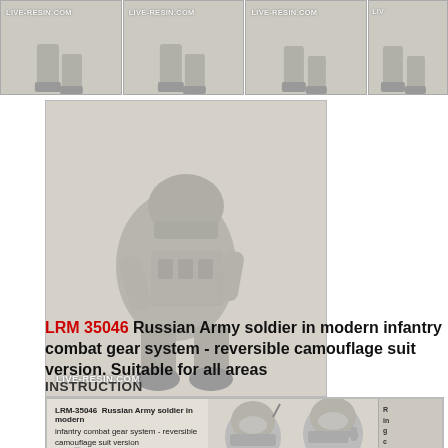[Figure (photo): Top row of four product photos showing military figure legs/boots on beige background with LIVE-RESIN.COM watermarks]
[Figure (photo): Resin model of a seated Russian Army soldier in modern infantry combat gear, shown from behind/side, with LIVE-RESIN.COM watermark on beige background]
LRM 35046  Russian Army soldier in modern infantry combat gear system - reversible camouflage suit version. Suitable for all areas
INSTRUCTION
[Figure (photo): Instruction sheet image showing LRM-35046 Russian Army soldier in modern infantry combat gear system - reversible camouflage suit version. Suitable for all areas. Set includes a figure only. Shows multiple views of figure and assembled model soldiers.]